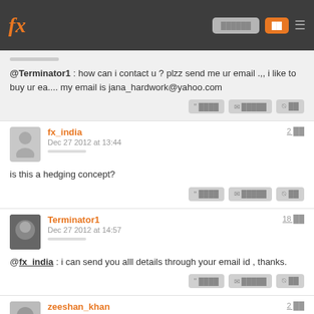fx [nav bar with logo and buttons]
@Terminator1 : how can i contact u ? plzz send me ur email .,, i like to buy ur ea.... my email is jana_hardwork@yahoo.com
fx_india - Dec 27 2012 at 13:44 - 2 posts
is this a hedging concept?
Terminator1 - Dec 27 2012 at 14:57 - 18 posts
@fx_india : i can send you alll details through your email id , thanks.
zeeshan_khan - 2 posts